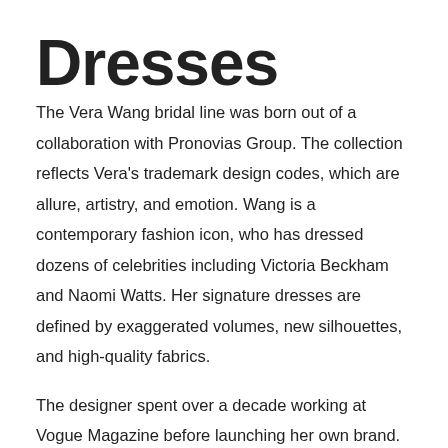Dresses
The Vera Wang bridal line was born out of a collaboration with Pronovias Group. The collection reflects Vera's trademark design codes, which are allure, artistry, and emotion. Wang is a contemporary fashion icon, who has dressed dozens of celebrities including Victoria Beckham and Naomi Watts. Her signature dresses are defined by exaggerated volumes, new silhouettes, and high-quality fabrics.
The designer spent over a decade working at Vogue Magazine before launching her own brand. She also spent time at Ralph Lauren, as Design Director. She quickly became frustrated with the dull and uninspired wedding dresses that were available. Wang realized that